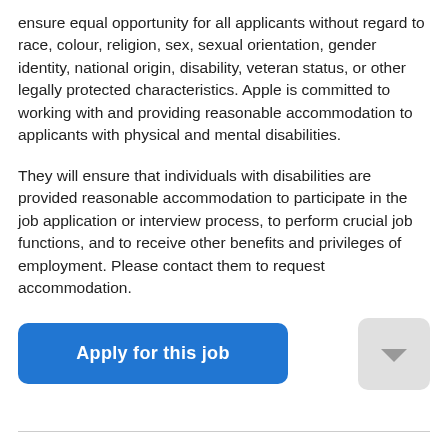ensure equal opportunity for all applicants without regard to race, colour, religion, sex, sexual orientation, gender identity, national origin, disability, veteran status, or other legally protected characteristics. Apple is committed to working with and providing reasonable accommodation to applicants with physical and mental disabilities.
They will ensure that individuals with disabilities are provided reasonable accommodation to participate in the job application or interview process, to perform crucial job functions, and to receive other benefits and privileges of employment. Please contact them to request accommodation.
[Figure (other): Blue 'Apply for this job' button and a scroll-to-top arrow icon button]